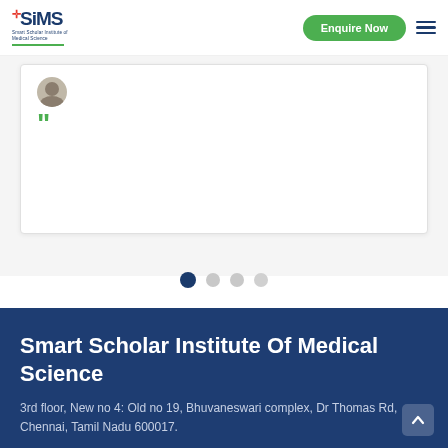[Figure (logo): SIMS logo - Smart Scholar Institute of Medical Science logo with red cross symbol and green underline]
[Figure (screenshot): Enquire Now green button and hamburger menu icon]
[Figure (screenshot): Testimonial card with avatar, quote marks in green, white background with border]
[Figure (infographic): Slider dots: 4 dots, first one dark blue (active), rest gray]
Smart Scholar Institute Of Medical Science
3rd floor, New no 4: Old no 19, Bhuvaneswari complex, Dr Thomas Rd, Chennai, Tamil Nadu 600017.